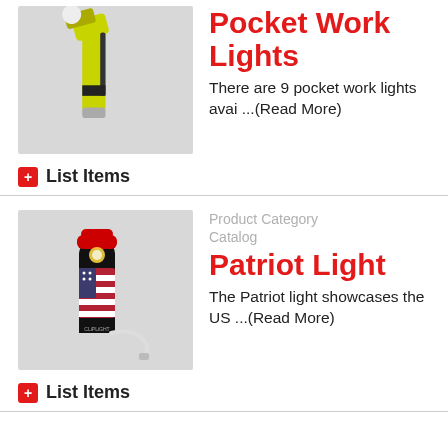[Figure (photo): Yellow angled pocket work light flashlight on grey background]
Pocket Work Lights
There are 9 pocket work lights avai ...(Read More)
List Items
[Figure (photo): CLiPLiGHT Patriot light — cylindrical flashlight with American flag design and USB charging cable, on grey background]
Product Category Catalog
Patriot Light
The Patriot light showcases the US ...(Read More)
List Items